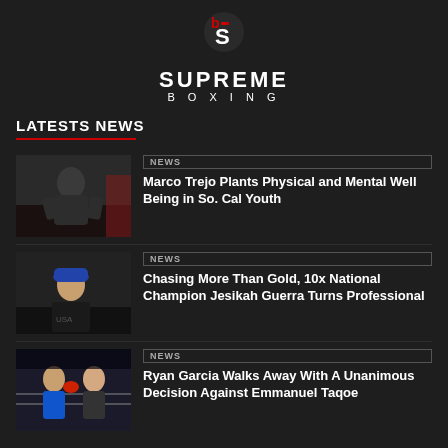[Figure (logo): Supreme Boxing logo with stylized S icon in red/white on dark background, text SUPREME BOXING below]
LATESTS NEWS
[Figure (photo): Photo of Marco Trejo, a man in a dark gym setting]
NEWS
Marco Trejo Plants Physical and Mental Well Being in So. Cal Youth
[Figure (photo): Photo of Jesikah Guerra, a boxer in a blue cap posing in gym]
NEWS
Chasing More Than Gold, 10x National Champion Jesikah Guerra Turns Professional
[Figure (photo): Photo of Ryan Garcia boxing match in ring]
NEWS
Ryan Garcia Walks Away With A Unanimous Decision Against Emmanuel Taqoe